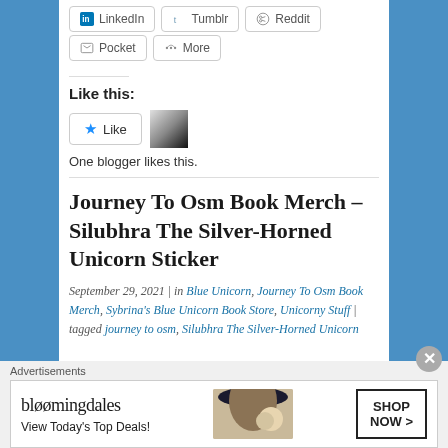[Figure (screenshot): Social share buttons row: LinkedIn, Tumblr, Reddit]
[Figure (screenshot): Social share buttons row: Pocket, More]
Like this:
[Figure (screenshot): WordPress Like button and avatar thumbnail. One blogger likes this.]
One blogger likes this.
Journey To Osm Book Merch – Silubhra The Silver-Horned Unicorn Sticker
September 29, 2021 | in Blue Unicorn, Journey To Osm Book Merch, Sybrina's Blue Unicorn Book Store, Unicorny Stuff | tagged journey to osm, Silubhra The Silver-Horned Unicorn
Advertisements
[Figure (screenshot): Bloomingdales advertisement banner: View Today's Top Deals! SHOP NOW >]